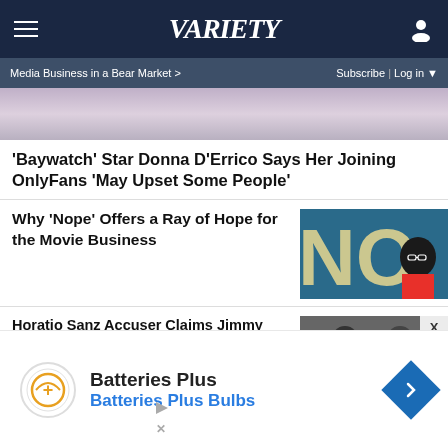VARIETY
Media Business in a Bear Market > Subscribe | Log in
[Figure (photo): Cropped photo at top of page, partial view of a person]
'Baywatch' Star Donna D'Errico Says Her Joining OnlyFans 'May Upset Some People'
Why 'Nope' Offers a Ray of Hope for the Movie Business
[Figure (photo): Movie poster for 'Nope' with large letters and person in foreground]
Horatio Sanz Accuser Claims Jimmy Fallon, Lorne Michaels and Tracy Morgan Enabled Sex Assault
[Figure (photo): Two men in suits side by side]
[Figure (other): Advertisement for Batteries Plus / Batteries Plus Bulbs]